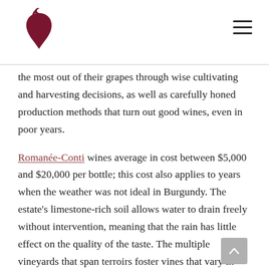[Logo and navigation header]
the most out of their grapes through wise cultivating and harvesting decisions, as well as carefully honed production methods that turn out good wines, even in poor years.
Romanée-Conti wines average in cost between $5,000 and $20,000 per bottle; this cost also applies to years when the weather was not ideal in Burgundy. The estate's limestone-rich soil allows water to drain freely without intervention, meaning that the rain has little effect on the quality of the taste. The multiple vineyards that span terroirs foster vines that vary in growing conditions. This requires owners to hand-select the grapes it uses for the Grand Vin in order to get the best grapes from every vineyard. Even in years when